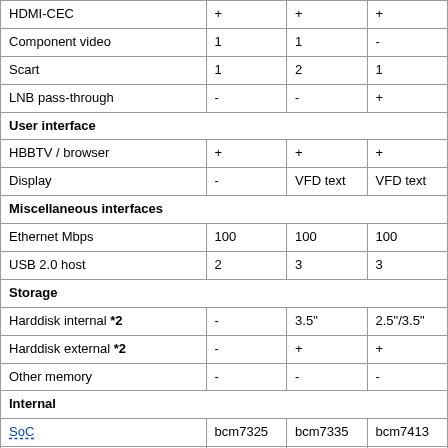|  |  |  |  |
| --- | --- | --- | --- |
| HDMI-CEC | + | + | + |
| Component video | 1 | 1 | - |
| Scart | 1 | 2 | 1 |
| LNB pass-through | - | - | + |
| User interface |  |  |  |
| HBBTV / browser | + | + | + |
| Display | - | VFD text | VFD text |
| Miscellaneous interfaces |  |  |  |
| Ethernet Mbps | 100 | 100 | 100 |
| USB 2.0 host | 2 | 3 | 3 |
| Storage |  |  |  |
| Harddisk internal *2 | - | 3.5" | 2.5"/3.5" |
| Harddisk external *2 | - | + | + |
| Other memory | - | - | - |
| Internal |  |  |  |
| SoC | bcm7325 | bcm7335 | bcm7413 |
| CPU Mhz | 333 | 400 | 400 |
| RAM total MiB | 256 | 384 | 512 |
| RAM available MiB | 109 | 135 | 270 |
| Flash size MiB | 128 | 128 | 128 |
| Video resolution *2 | interlaced | interlaced | interlaced |